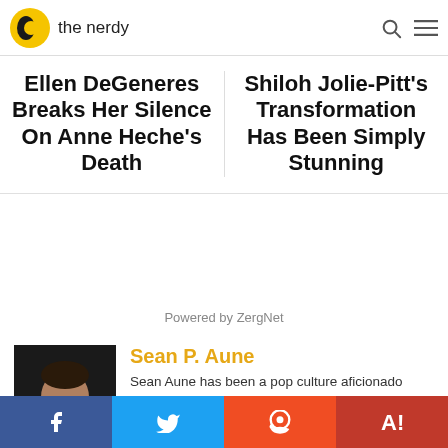the nerdy
Ellen DeGeneres Breaks Her Silence On Anne Heche's Death
Shiloh Jolie-Pitt's Transformation Has Been Simply Stunning
Powered by ZergNet
[Figure (photo): Headshot of Sean P. Aune, a man with glasses and dark clothing against a dark background]
Sean P. Aune
Sean Aune has been a pop culture aficionado since before there was even a term for pop culture. From the time